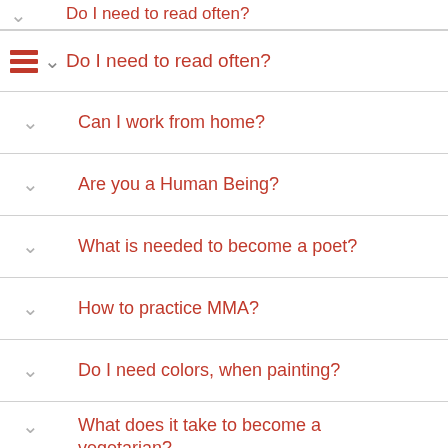Do I need to read often?
Do I need to read often?
Can I work from home?
Are you a Human Being?
What is needed to become a poet?
How to practice MMA?
Do I need colors, when painting?
What does it take to become a vegetarian?